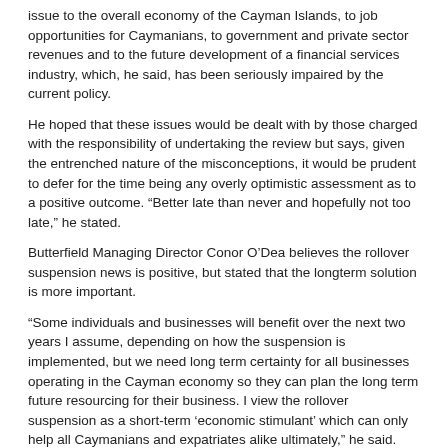issue to the overall economy of the Cayman Islands, to job opportunities for Caymanians, to government and private sector revenues and to the future development of a financial services industry, which, he said, has been seriously impaired by the current policy.
He hoped that these issues would be dealt with by those charged with the responsibility of undertaking the review but says, given the entrenched nature of the misconceptions, it would be prudent to defer for the time being any overly optimistic assessment as to a positive outcome. “Better late than never and hopefully not too late,” he stated.
Butterfield Managing Director Conor O’Dea believes the rollover suspension news is positive, but stated that the longterm solution is more important.
“Some individuals and businesses will benefit over the next two years I assume, depending on how the suspension is implemented, but we need long term certainty for all businesses operating in the Cayman economy so they can plan the long term future resourcing for their business. I view the rollover suspension as a short-term ‘economic stimulant’ which can only help all Caymanians and expatriates alike ultimately,” he said.
CEO of recruitment firm CML, Steve McIntosh, says suspending the rollover is obviously going to make a lot of people that would otherwise have been forced to leave very happy.
“Many employers will also be very happy to be keeping a staff-member